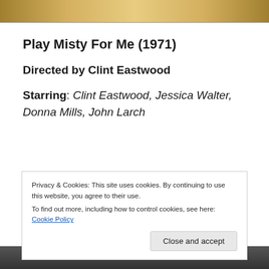[Figure (photo): Top portion of a movie poster or image with golden/amber tones, partially cropped]
Play Misty For Me (1971)
Directed by Clint Eastwood
Starring: Clint Eastwood, Jessica Walter, Donna Mills, John Larch
Privacy & Cookies: This site uses cookies. By continuing to use this website, you agree to their use.
To find out more, including how to control cookies, see here: Cookie Policy
[Figure (photo): Bottom portion of a dark scene from the movie, partially cropped]